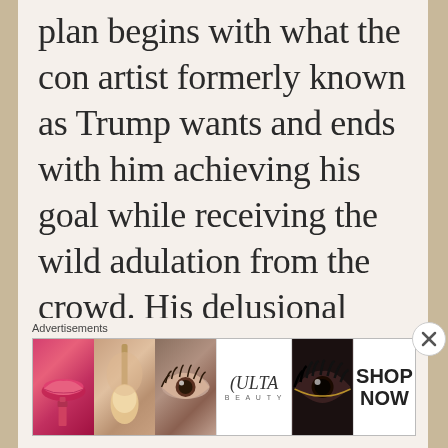plan begins with what the con artist formerly known as Trump wants and ends with him achieving his goal while receiving the wild adulation from the crowd. His delusional belief in his own success, despite the reality of spectacular failures. Most people who drop a
[Figure (other): Close button (X) overlay circle]
Advertisements
[Figure (other): Ulta Beauty advertisement banner showing makeup close-up images (lips, brush, eye), Ulta Beauty logo, dark eye makeup image, and SHOP NOW button]